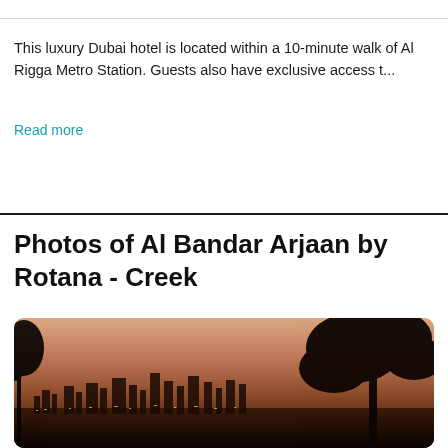This luxury Dubai hotel is located within a 10-minute walk of Al Rigga Metro Station. Guests also have exclusive access t...
Read more
Photos of Al Bandar Arjaan by Rotana - Creek
[Figure (photo): Twilight/sunset cityscape photo showing a Dubai skyline silhouette with city lights at the bottom, a large tree silhouette on the right side, and warm orange-pink gradient sky.]